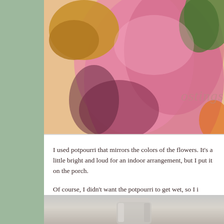[Figure (photo): Close-up photo of pink flowers and dried botanical/potpourri arrangement with braided or clustered seed pods, warm pink petals filling most of the frame, green leaf visible at top right, watermark text 'ostings' partially visible]
I used potpourri that mirrors the colors of the flowers. It's a little bright and loud for an indoor arrangement, but I put it on the porch.
Of course, I didn't want the potpourri to get wet, so I inside an octagonal candy jar.
[Figure (photo): Bottom portion of a glass jar, likely an octagonal candy jar, partially visible at the bottom of the page]